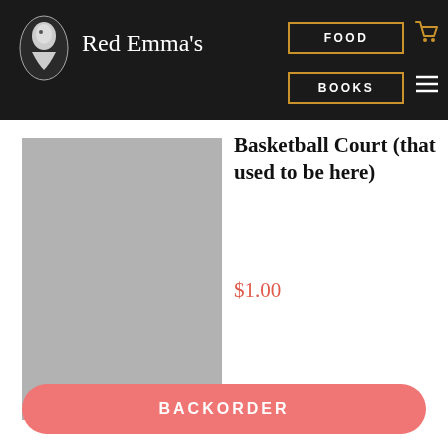Red Emma's
[Figure (screenshot): Gray placeholder rectangle for book cover image]
Basketball Court (that used to be here)
$1.00
BACKORDER